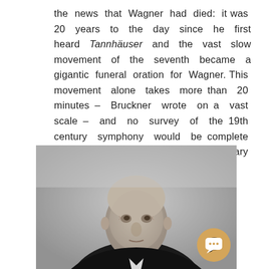the news that Wagner had died: it was 20 years to the day since he first heard Tannhäuser and the vast slow movement of the seventh became a gigantic funeral oration for Wagner. This movement alone takes more than 20 minutes – Bruckner wrote on a vast scale – and no survey of the 19th century symphony would be complete without a reference to this extraordinary composer. [listen]
[Figure (photo): Black and white portrait photograph of an elderly bald man, presumably Anton Bruckner, wearing a dark jacket with white collar, looking slightly upward. A chat/message bubble icon appears in the bottom-right corner of the image.]